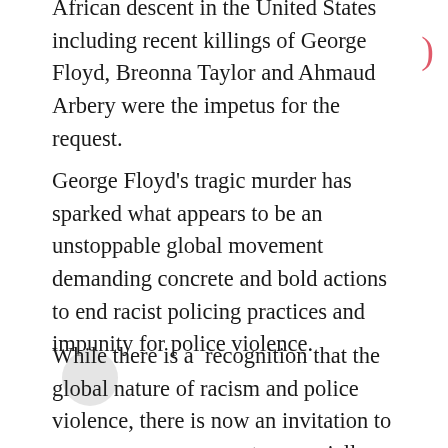African descent in the United States including recent killings of George Floyd, Breonna Taylor and Ahmaud Arbery were the impetus for the request.
George Floyd's tragic murder has sparked what appears to be an unstoppable global movement demanding concrete and bold actions to end racist policing practices and impunity for police violence.
While there is a  recognition that the global nature of racism and police violence, there is now an invitation to encourage governments, especially members of the UN Human Rights Council, to ensure that the Urgent Debate and